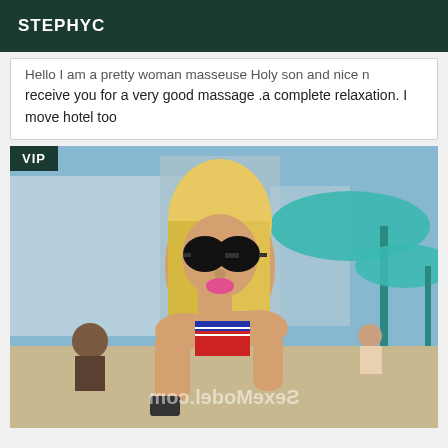STEPHYC
Hello I am a pretty woman masseuse Holy son and nice n receive you for a very good massage .a complete relaxation. I move hotel too
[Figure (photo): Blonde woman wearing large black sunglasses and a bikini top, smiling, at a poolside setting with teal umbrellas in background. VIP badge in top-left corner. Watermark 'SexeModel.com' mirrored at bottom.]